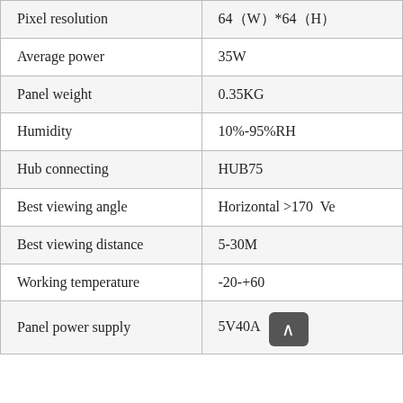| Pixel resolution | 64（W）*64（H） |
| Average power | 35W |
| Panel weight | 0.35KG |
| Humidity | 10%-95%RH |
| Hub connecting | HUB75 |
| Best viewing angle | Horizontal >170  Ve |
| Best viewing distance | 5-30M |
| Working temperature | -20-+60 |
| Panel power supply | 5V40A |